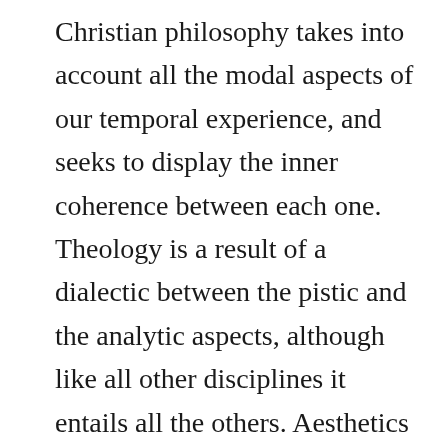Christian philosophy takes into account all the modal aspects of our temporal experience, and seeks to display the inner coherence between each one. Theology is a result of a dialectic between the pistic and the analytic aspects, although like all other disciplines it entails all the others. Aesthetics is another aspect, and the results we gain from it must be combined in dialectic with another aspect if we are to come up with a “discipline” we might call “art”. It is